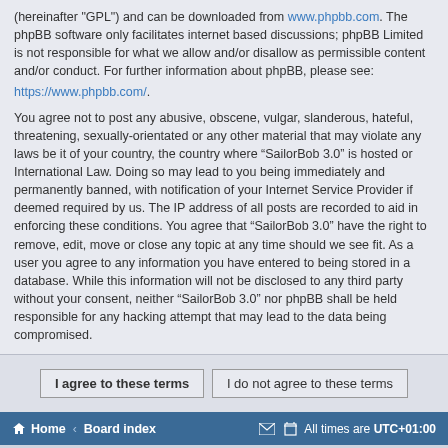(hereinafter "GPL") and can be downloaded from www.phpbb.com. The phpBB software only facilitates internet based discussions; phpBB Limited is not responsible for what we allow and/or disallow as permissible content and/or conduct. For further information about phpBB, please see: https://www.phpbb.com/.
You agree not to post any abusive, obscene, vulgar, slanderous, hateful, threatening, sexually-orientated or any other material that may violate any laws be it of your country, the country where “SailorBob 3.0” is hosted or International Law. Doing so may lead to you being immediately and permanently banned, with notification of your Internet Service Provider if deemed required by us. The IP address of all posts are recorded to aid in enforcing these conditions. You agree that “SailorBob 3.0” have the right to remove, edit, move or close any topic at any time should we see fit. As a user you agree to any information you have entered to being stored in a database. While this information will not be disclosed to any third party without your consent, neither “SailorBob 3.0” nor phpBB shall be held responsible for any hacking attempt that may lead to the data being compromised.
I agree to these terms | I do not agree to these terms
Home ‹ Board index | All times are UTC+01:00
Powered by phpBB® Forum Software © phpBB Limited | Privacy | Terms